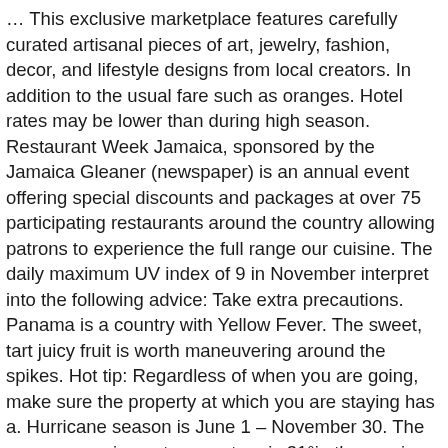… This exclusive marketplace features carefully curated artisanal pieces of art, jewelry, fashion, decor, and lifestyle designs from local creators. In addition to the usual fare such as oranges. Hotel rates may be lower than during high season. Restaurant Week Jamaica, sponsored by the Jamaica Gleaner (newspaper) is an annual event offering special discounts and packages at over 75 participating restaurants around the country allowing patrons to experience the full range our cuisine. The daily maximum UV index of 9 in November interpret into the following advice: Take extra precautions. Panama is a country with Yellow Fever. The sweet, tart juicy fruit is worth maneuvering around the spikes. Hot tip: Regardless of when you are going, make sure the property at which you are staying has a. Hurricane season is June 1 – November 30. The average maximum temperature is 31°in the previous month and 29°in the next month. First up is Bacchanal Jamaica's Band Launch on November 2 with a